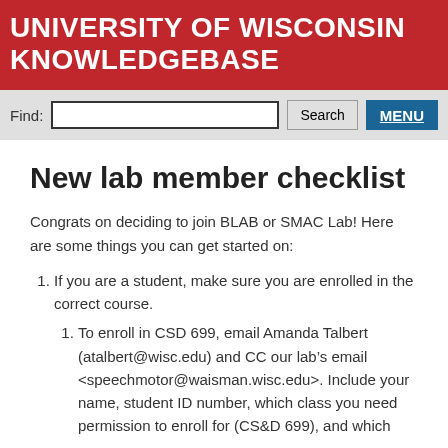UNIVERSITY OF WISCONSIN KNOWLEDGEBASE
New lab member checklist
Congrats on deciding to join BLAB or SMAC Lab! Here are some things you can get started on:
If you are a student, make sure you are enrolled in the correct course.
To enroll in CSD 699, email Amanda Talbert (atalbert@wisc.edu) and CC our lab’s email <speechmotor@waisman.wisc.edu>. Include your name, student ID number, which class you need permission to enroll for (CS&D 699), and which